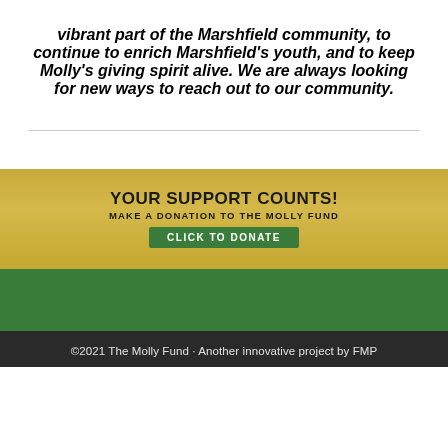vibrant part of the Marshfield community, to continue to enrich Marshfield's youth, and to keep Molly's giving spirit alive. We are always looking for new ways to reach out to our community.
[Figure (infographic): Yellow/golden banner with wildflower background. Text reads: YOUR SUPPORT COUNTS! MAKE A DONATION TO THE MOLLY FUND. Green button: CLICK TO DONATE.]
©2021 The Molly Fund · Another innovative project by FMP